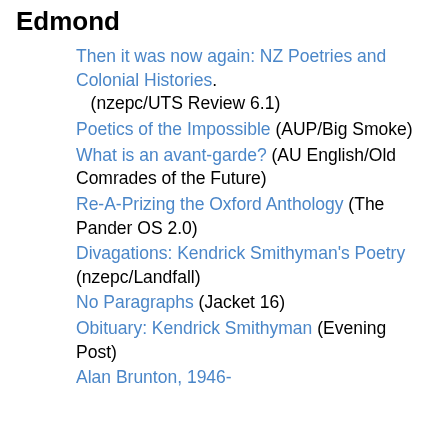Edmond
Then it was now again: NZ Poetries and Colonial Histories. (nzepc/UTS Review 6.1)
Poetics of the Impossible (AUP/Big Smoke)
What is an avant-garde? (AU English/Old Comrades of the Future)
Re-A-Prizing the Oxford Anthology (The Pander OS 2.0)
Divagations: Kendrick Smithyman's Poetry (nzepc/Landfall)
No Paragraphs (Jacket 16)
Obituary: Kendrick Smithyman (Evening Post)
Alan Brunton, 1946-